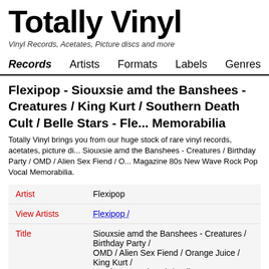Totally Vinyl
Vinyl Records, Acetates, Picture discs and more
Records | Artists | Formats | Labels | Genres
Flexipop - Siouxsie amd the Banshees - Creatures / King Kurt / Southern Death Cult / Belle Stars - Fle... Memorabilia
Totally Vinyl brings you from our huge stock of rare vinyl records, acetates, picture di... Siouxsie amd the Banshees - Creatures / Birthday Party / OMD / Alien Sex Fiend / O... Magazine 80s New Wave Rock Pop Vocal Memorabilia.
| Field | Value |
| --- | --- |
| Artist | Flexipop |
| View Artists | Flexipop / |
| Title | Siouxsie amd the Banshees - Creatures / Birthday Party / OMD / Alien Sex Fiend / Orange Juice / King Kurt / Southern Death Cult / Belle Stars |
| Other Tracks |  |